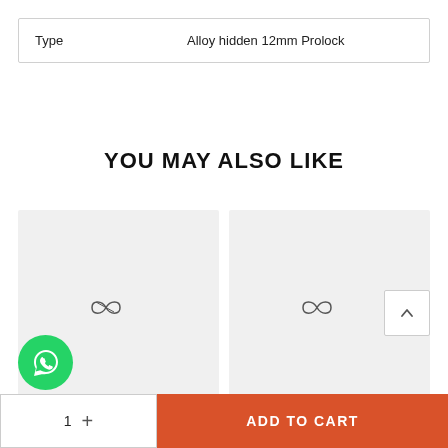| Type | Alloy hidden 12mm Prolock |
YOU MAY ALSO LIKE
[Figure (photo): Product thumbnail with infinity-like logo on light grey background]
[Figure (photo): Product thumbnail with infinity-like logo on light grey background]
ADD TO CART